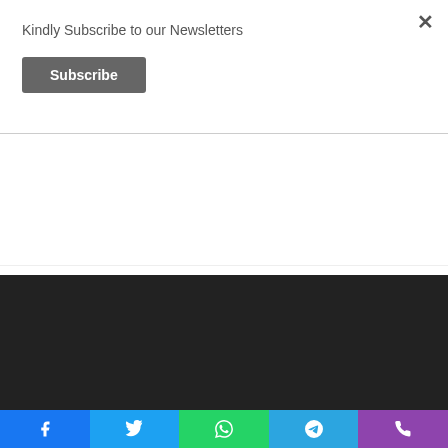Kindly Subscribe to our Newsletters
Subscribe
[Figure (illustration): Olilifood advertisement banner with delivery scooter illustration. Logo, headline 'Satisfy your cravings', subtext 'Order from your favourite restaurant and get it delivered to your doorstep in minutes', and a red 'Click here' button.]
© Copyright 2022, All Rights Reserved  |  Back to Main GFA Page
[Figure (infographic): Social media icons row: Facebook, Twitter, LinkedIn, YouTube, Instagram in white on dark background]
[Figure (infographic): Bottom share bar with icons: Facebook (blue), Twitter (cyan), WhatsApp (green), Telegram (blue), Phone (purple)]